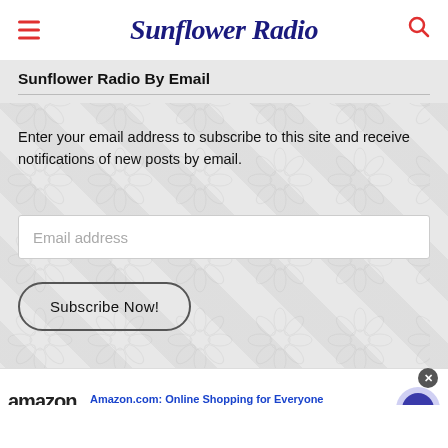Sunflower Radio
Sunflower Radio By Email
Enter your email address to subscribe to this site and receive notifications of new posts by email.
Email address
Subscribe Now!
[Figure (screenshot): Amazon advertisement banner: Amazon logo with arrow, title 'Amazon.com: Online Shopping for Everyone', subtitle 'Shop at Amazon. Free Shipping with Prime. Best Deals Ever!', domain 'amazon.com', navigation arrow button]